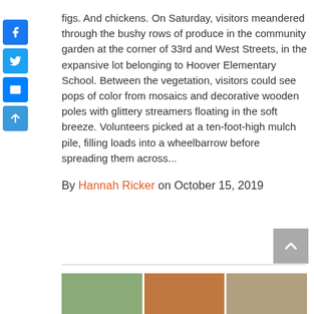figs. And chickens. On Saturday, visitors meandered through the bushy rows of produce in the community garden at the corner of 33rd and West Streets, in the expansive lot belonging to Hoover Elementary School. Between the vegetation, visitors could see pops of color from mosaics and decorative wooden poles with glittery streamers floating in the soft breeze. Volunteers picked at a ten-foot-high mulch pile, filling loads into a wheelbarrow before spreading them across...
By Hannah Ricker on October 15, 2019
[Figure (photo): Partial view of three thumbnail photos at the bottom of the article]